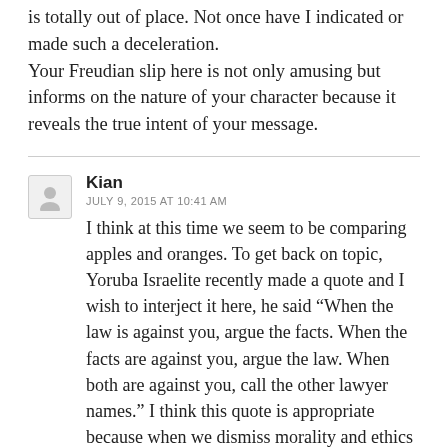is totally out of place. Not once have I indicated or made such a deceleration.
Your Freudian slip here is not only amusing but informs on the nature of your character because it reveals the true intent of your message.
Kian
JULY 9, 2015 AT 10:41 AM
I think at this time we seem to be comparing apples and oranges. To get back on topic, Yoruba Israelite recently made a quote and I wish to interject it here, he said “When the law is against you, argue the facts. When the facts are against you, argue the law. When both are against you, call the other lawyer names.” I think this quote is appropriate because when we dismiss morality and ethics as part of our lives we basically have reduced ourselves to nought. When you become a “public figure” you are in fact allowing yourself into the lives, living